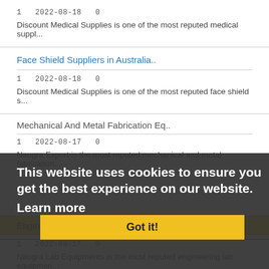1   2022-08-18   0
Discount Medical Supplies is one of the most reputed medical suppl...
Face Shield Suppliers in Australia..
1   2022-08-18   0
Discount Medical Supplies is one of the most reputed face shield s...
Mechanical And Metal Fabrication Eq..
1   2022-08-17   0
Naugra Export is the most reputed mechanical and metal fabrication....
This website uses cookies to ensure you get the best experience on our website.
Learn more
Got it!
Engineering Lab Equipments Manufact..
1   2022-08-17   0
Naugra Lab Equipments is the most reputed engineering lab equipmen...